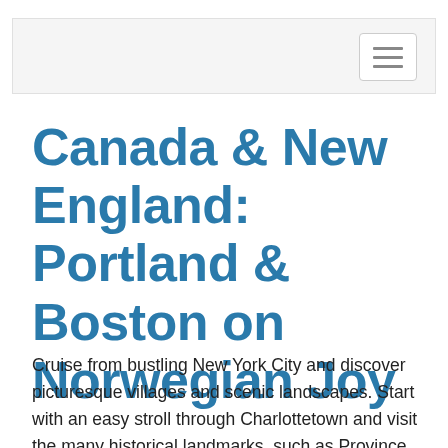Canada & New England: Portland & Boston on Norwegian Joy
Cruise from bustling New York City and discover picturesque villages and scenic landscapes. Start with an easy stroll through Charlottetown and visit the many historical landmarks, such as Province House and St.